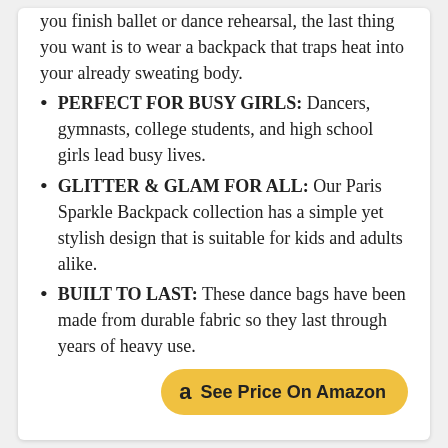you finish ballet or dance rehearsal, the last thing you want is to wear a backpack that traps heat into your already sweating body.
PERFECT FOR BUSY GIRLS: Dancers, gymnasts, college students, and high school girls lead busy lives.
GLITTER & GLAM FOR ALL: Our Paris Sparkle Backpack collection has a simple yet stylish design that is suitable for kids and adults alike.
BUILT TO LAST: These dance bags have been made from durable fabric so they last through years of heavy use.
See Price On Amazon